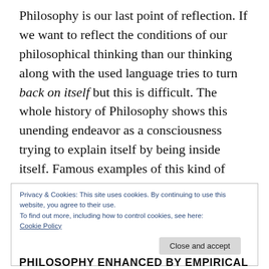Philosophy is our last point of reflection. If we want to reflect the conditions of our philosophical thinking than our thinking along with the used language tries to turn back on itself but this is difficult. The whole history of Philosophy shows this unending endeavor as a consciousness trying to explain itself by being inside itself. Famous examples of this kind of thinking are e.g. Descartes, Kant, Fichte, Schelling, Hegel, and Husserl.
Privacy & Cookies: This site uses cookies. By continuing to use this website, you agree to their use.
To find out more, including how to control cookies, see here:
Cookie Policy
PHILOSOPHY ENHANCED BY EMPIRICAL